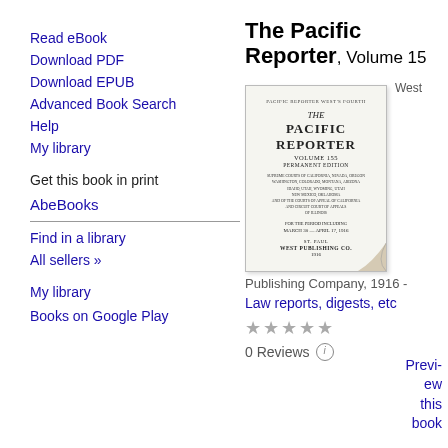Read eBook
Download PDF
Download EPUB
Advanced Book Search
Help
My library
Get this book in print
AbeBooks
Find in a library
All sellers »
My library
Books on Google Play
The Pacific Reporter, Volume 15
[Figure (illustration): Book cover of The Pacific Reporter, Volume 155, Permanent Edition, published by West Publishing Co.]
Publishing Company, 1916 -
West
Law reports, digests, etc
0 Reviews
Preview this book